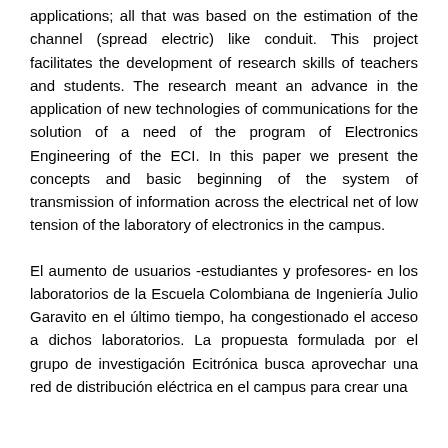applications; all that was based on the estimation of the channel (spread electric) like conduit. This project facilitates the development of research skills of teachers and students. The research meant an advance in the application of new technologies of communications for the solution of a need of the program of Electronics Engineering of the ECI. In this paper we present the concepts and basic beginning of the system of transmission of information across the electrical net of low tension of the laboratory of electronics in the campus.
El aumento de usuarios -estudiantes y profesores- en los laboratorios de la Escuela Colombiana de Ingeniería Julio Garavito en el último tiempo, ha congestionado el acceso a dichos laboratorios. La propuesta formulada por el grupo de investigación Ecitrónica busca aprovechar una red de distribución eléctrica en el campus para crear una